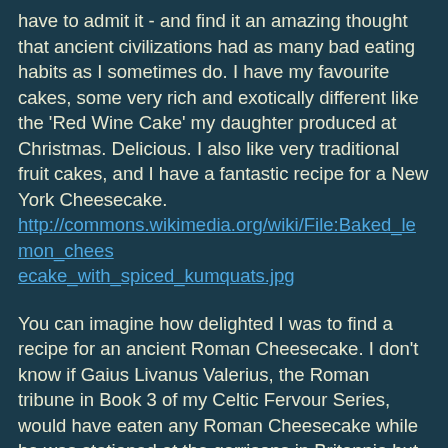have to admit it - and find it an amazing thought that ancient civilizations had as many bad eating habits as I sometimes do. I have my favourite cakes, some very rich and exotically different like the 'Red Wine Cake' my daughter produced at Christmas. Delicious. I also like very traditional fruit cakes, and I have a fantastic recipe for a New York Cheesecake. http://commons.wikimedia.org/wiki/File:Baked_lemon_cheesecake_with_spiced_kumquats.jpg
You can imagine how delighted I was to find a recipe for an ancient Roman Cheesecake. I don't know if Gaius Livanus Valerius, the Roman tribune in Book 3 of my Celtic Fervour Series, would have eaten any Roman Cheesecake while he was stationed at the garrisons in Britannia but the likelihood is – yes, if the ingredients were to hand. The officer class of the Roman Army, it seems from research, were prone to dragging around their own cook who would produce their food if they were not eating in the 'mess' area. If a tribune like my Gaius had his own cook then there were advantages. The risk of someone doctoring the food was less likely if he had his own cook and servants, all people who were answerable to him and scared to fall foul of his pugio or